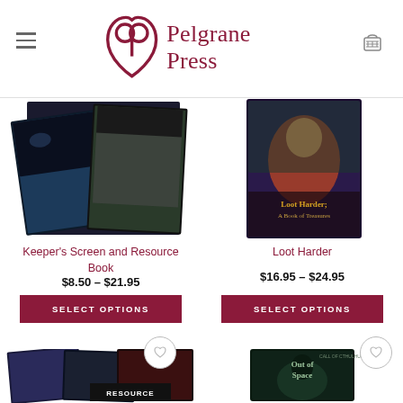Pelgrane Press
[Figure (photo): Keeper's Screen and Resource Book product image showing two dark fantasy book covers]
Keeper's Screen and Resource Book
$8.50 – $21.95
SELECT OPTIONS
[Figure (photo): Loot Harder: A Book of Treasures product image showing colorful fantasy book cover]
Loot Harder
$16.95 – $24.95
SELECT OPTIONS
[Figure (photo): Bottom left product image - Resource book with sci-fi/fantasy covers fanned out]
[Figure (photo): Out of Space - Call of Cthulhu product image showing dark cover with bird/creature]